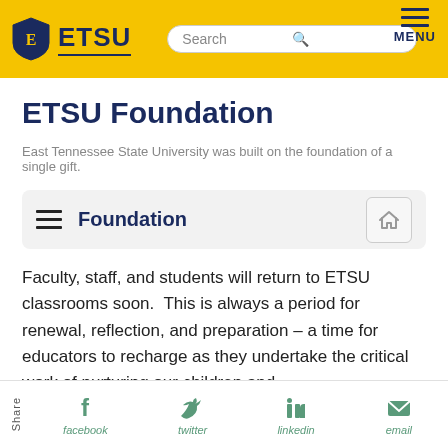ETSU – Search – MENU
ETSU Foundation
East Tennessee State University was built on the foundation of a single gift.
Foundation
Faculty, staff, and students will return to ETSU classrooms soon.  This is always a period for renewal, reflection, and preparation – a time for educators to recharge as they undertake the critical work of nurturing our children and
Share  facebook  twitter  linkedin  email